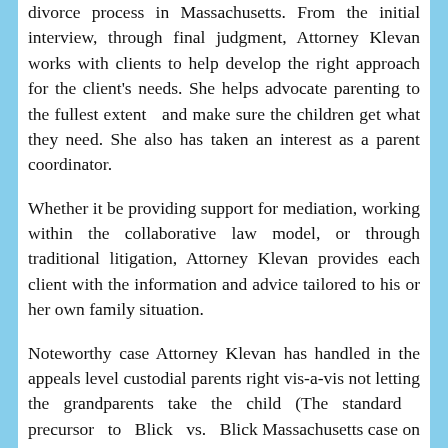divorce process in Massachusetts. From the initial interview, through final judgment, Attorney Klevan works with clients to help develop the right approach for the client's needs. She helps advocate parenting to the fullest extent and make sure the children get what they need. She also has taken an interest as a parent coordinator.
Whether it be providing support for mediation, working within the collaborative law model, or through traditional litigation, Attorney Klevan provides each client with the information and advice tailored to his or her own family situation.
Noteworthy case Attorney Klevan has handled in the appeals level custodial parents right vis-a-vis not letting the grandparents take the child (The standard precursor to Blick vs. Blick Massachusetts case on grandparents visitation guidelines) case protecting mother-child